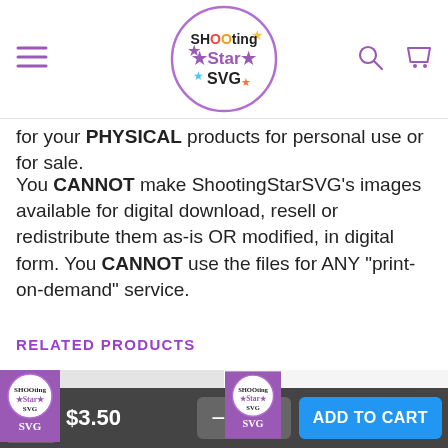Shooting Star SVG
for your PHYSICAL products for personal use or for sale.
You CANNOT make ShootingStarSVG's images available for digital download, resell or redistribute them as-is OR modified, in digital form. You CANNOT use the files for ANY "print-on-demand" service.
RELATED PRODUCTS
[Figure (photo): Product thumbnail showing MERRY text with holiday decoration SVG design, with Shooting Star SVG badge overlay]
[Figure (photo): Product thumbnail showing 'Oh Christmas' cursive text with candy cane decorations SVG design, with Shooting Star SVG badge overlay]
$3.50  −  1  +  ADD TO CART